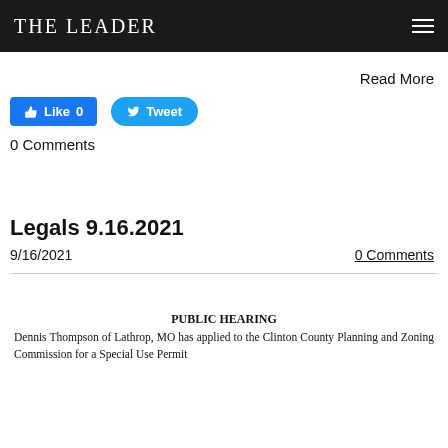THE LEADER
Read More
[Figure (other): Facebook Like button showing 'Like 0' and Twitter Tweet button]
0 Comments
Legals 9.16.2021
9/16/2021
0 Comments
PUBLIC HEARING
Dennis Thompson of Lathrop, MO has applied to the Clinton County Planning and Zoning Commission for a Special Use Permit